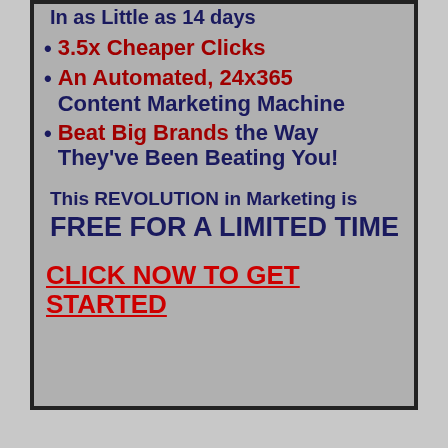In as Little as 14 days
3.5x Cheaper Clicks
An Automated, 24x365 Content Marketing Machine
Beat Big Brands the Way They've Been Beating You!
This REVOLUTION in Marketing is FREE FOR A LIMITED TIME
CLICK NOW TO GET STARTED